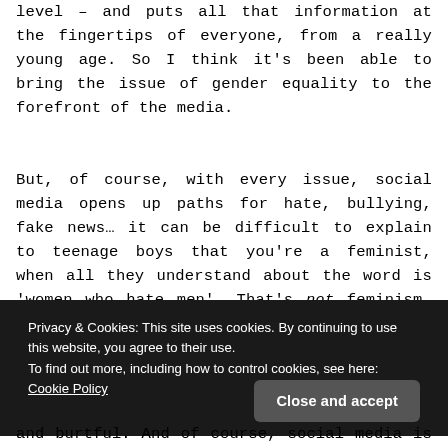level – and puts all that information at the fingertips of everyone, from a really young age. So I think it's been able to bring the issue of gender equality to the forefront of the media.
But, of course, with every issue, social media opens up paths for hate, bullying, fake news… it can be difficult to explain to teenage boys that you're a feminist, when all they understand about the word is 'women who hate men'. That's not feminism. And social media has a had an integral role in portraying it as something negative, which has taken a toll on the movement.
Privacy & Cookies: This site uses cookies. By continuing to use this website, you agree to their use.
To find out more, including how to control cookies, see here: Cookie Policy
and burtful. And of course, social media is their tool. It